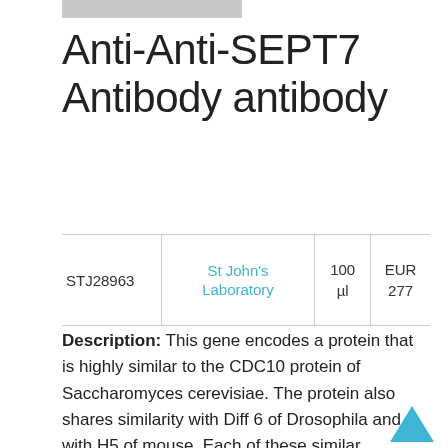Anti-Anti-SEPT7 Antibody antibody
| ID | Supplier | Volume | Price |
| --- | --- | --- | --- |
| STJ28963 | St John's Laboratory | 100 µl | EUR 277 |
Description: This gene encodes a protein that is highly similar to the CDC10 protein of Saccharomyces cerevisiae. The protein also shares similarity with Diff 6 of Drosophila and with H5 of mouse. Each of these similar proteins, including the yeast CDC10, contains a GTP-binding motif. The yeast CDC10 protein is a structural component of the 10 nm filament which lies inside the cytoplasmic membrane and is essential for cytokinesis. This human protein